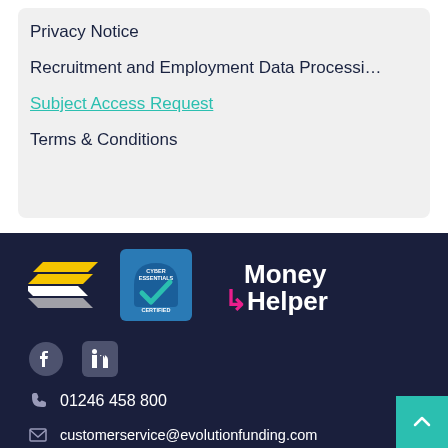Privacy Notice
Recruitment and Employment Data Processi…
Subject Access Request
Terms & Conditions
[Figure (logo): Evolution Funding stacked parallelogram logo in yellow and grey/white]
[Figure (logo): Cyber Essentials Certified badge with blue background and tick]
[Figure (logo): Money Helper logo in white with pink arrow]
[Figure (logo): Facebook icon in grey]
[Figure (logo): LinkedIn icon in grey]
01246 458 800
customerservice@evolutionfunding.com